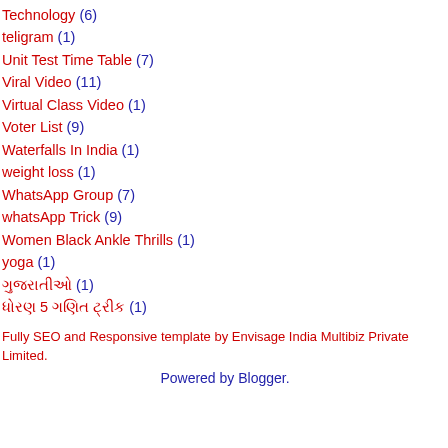Technology (6)
teligram (1)
Unit Test Time Table (7)
Viral Video (11)
Virtual Class Video (1)
Voter List (9)
Waterfalls In India (1)
weight loss (1)
WhatsApp Group (7)
whatsApp Trick (9)
Women Black Ankle Thrills (1)
yoga (1)
ગુજરાતીઓ (1)
ધોરણ 5 ગણિત ટ્રીક (1)
Fully SEO and Responsive template by Envisage India Multibiz Private Limited.
Powered by Blogger.